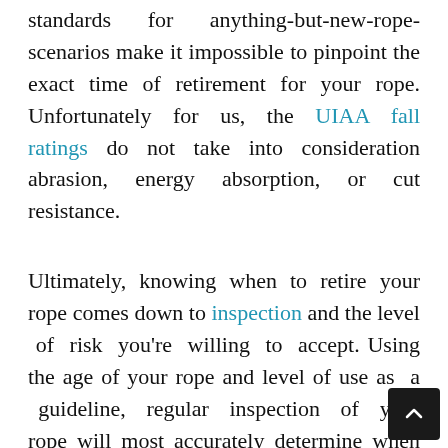standards for anything-but-new-rope-scenarios make it impossible to pinpoint the exact time of retirement for your rope. Unfortunately for us, the UIAA fall ratings do not take into consideration abrasion, energy absorption, or cut resistance.
Ultimately, knowing when to retire your rope comes down to inspection and the level of risk you're willing to accept. Using the age of your rope and level of use as a guideline, regular inspection of your rope will most accurately determine when it's time to retire your rope.